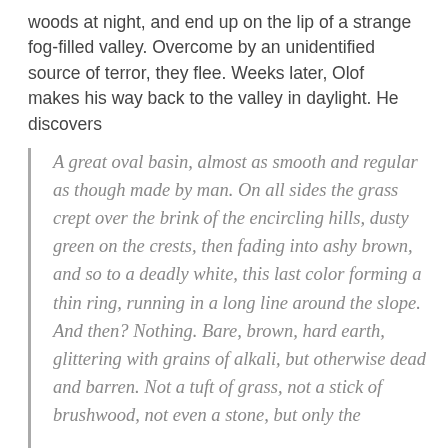woods at night, and end up on the lip of a strange fog-filled valley. Overcome by an unidentified source of terror, they flee. Weeks later, Olof makes his way back to the valley in daylight. He discovers
A great oval basin, almost as smooth and regular as though made by man. On all sides the grass crept over the brink of the encircling hills, dusty green on the crests, then fading into ashy brown, and so to a deadly white, this last color forming a thin ring, running in a long line around the slope. And then? Nothing. Bare, brown, hard earth, glittering with grains of alkali, but otherwise dead and barren. Not a tuft of grass, not a stick of brushwood, not even a stone, but only the